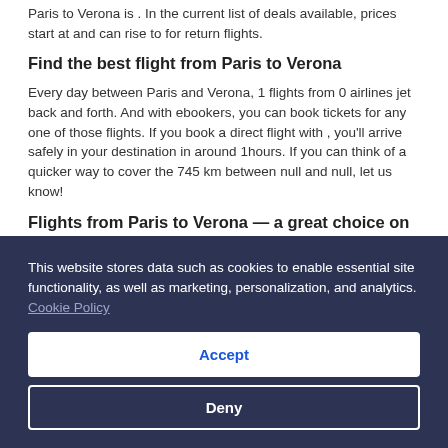Paris to Verona is . In the current list of deals available, prices start at and can rise to for return flights.
Find the best flight from Paris to Verona
Every day between Paris and Verona, 1 flights from 0 airlines jet back and forth. And with ebookers, you can book tickets for any one of those flights. If you book a direct flight with , you'll arrive safely in your destination in around 1hours. If you can think of a quicker way to cover the 745 km between null and null, let us know!
Flights from Paris to Verona — a great choice on great deals
This website stores data such as cookies to enable essential site functionality, as well as marketing, personalization, and analytics. Cookie Policy
Accept
Deny